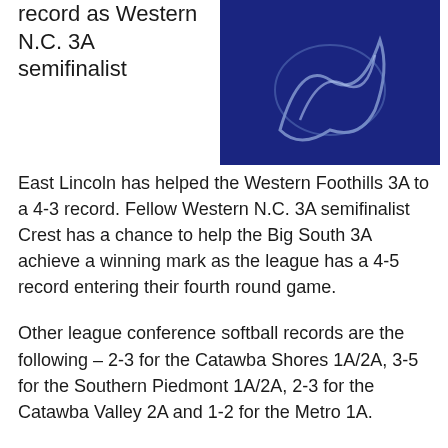record as Western N.C. 3A semifinalist
[Figure (illustration): Blue background image with white/light blue illustrated design, appears to be a sports logo or mascot graphic]
East Lincoln has helped the Western Foothills 3A to a 4-3 record. Fellow Western N.C. 3A semifinalist Crest has a chance to help the Big South 3A achieve a winning mark as the league has a 4-5 record entering their fourth round game.
Other league conference softball records are the following – 2-3 for the Catawba Shores 1A/2A, 3-5 for the Southern Piedmont 1A/2A, 2-3 for the Catawba Valley 2A and 1-2 for the Metro 1A.
Friday's area N.C. High School Athletic Association Western semifinal baseball playoff pairings:
(Class 3A)
North Lincoln at South Rowan